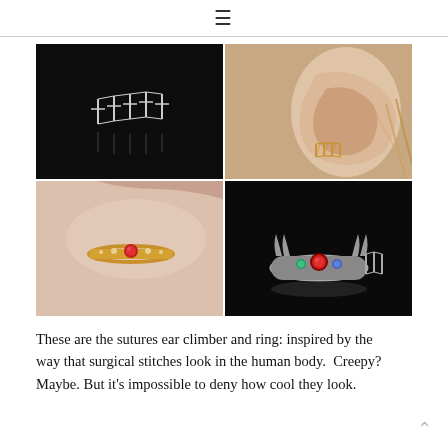≡
[Figure (photo): Four-panel photo grid showing suture-inspired jewelry: top-left is silver suture earring on black background; top-right is gold suture ear climber earring worn on a human ear; bottom-left is a delicate gold ring with red gemstone worn on a hand; bottom-right is a silver ring with red and blue gemstones on black background.]
These are the sutures ear climber and ring: inspired by the way that surgical stitches look in the human body.  Creepy? Maybe. But it's impossible to deny how cool they look.